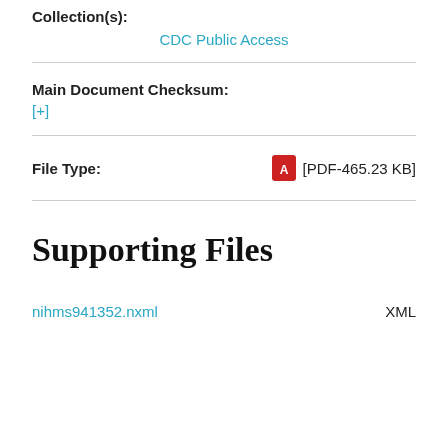Collection(s):
CDC Public Access
Main Document Checksum:
[+]
File Type:
[PDF-465.23 KB]
Supporting Files
nihms941352.nxml
XML